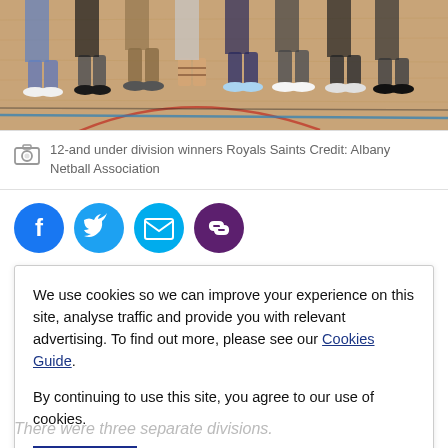[Figure (photo): Cropped photo showing feet and lower legs of multiple people standing on a wooden netball/basketball court floor with court markings visible]
12-and under division winners Royals Saints Credit: Albany Netball Association
[Figure (infographic): Social sharing icons: Facebook (blue circle), Twitter (light blue circle), Email (teal circle), Link/chain (dark purple circle)]
We use cookies so we can improve your experience on this site, analyse traffic and provide you with relevant advertising. To find out more, please see our Cookies Guide.

By continuing to use this site, you agree to our use of cookies.
There were three separate divisions.